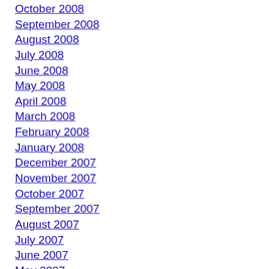October 2008
September 2008
August 2008
July 2008
June 2008
May 2008
April 2008
March 2008
February 2008
January 2008
December 2007
November 2007
October 2007
September 2007
August 2007
July 2007
June 2007
May 2007
April 2007